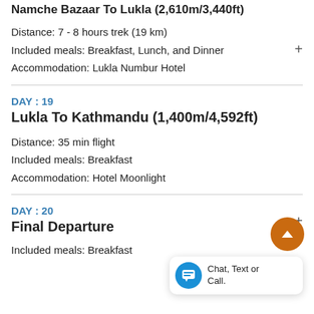Namche Bazaar To Lukla (2,610m/3,440ft)
Distance: 7 - 8 hours trek (19 km)
Included meals: Breakfast, Lunch, and Dinner
Accommodation: Lukla Numbur Hotel
DAY : 19
Lukla To Kathmandu (1,400m/4,592ft)
Distance: 35 min flight
Included meals: Breakfast
Accommodation: Hotel Moonlight
DAY : 20
Final Departure
Included meals: Breakfast